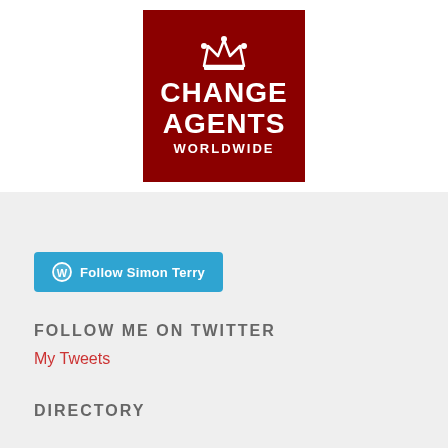[Figure (logo): Change Agents Worldwide logo — dark red square with white crown icon above bold white text reading CHANGE AGENTS WORLDWIDE]
[Figure (other): WordPress Follow button: blue rounded button with WordPress icon reading 'Follow Simon Terry']
FOLLOW ME ON TWITTER
My Tweets
DIRECTORY